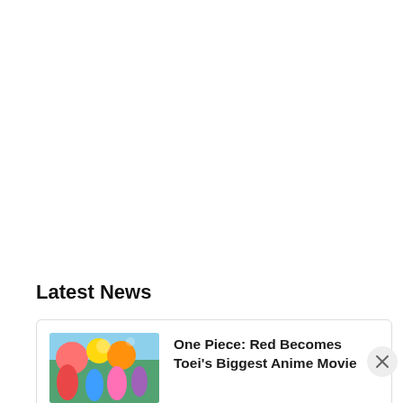Latest News
[Figure (illustration): Colorful anime-style thumbnail image for One Piece: Red movie article]
One Piece: Red Becomes Toei's Biggest Anime Movie